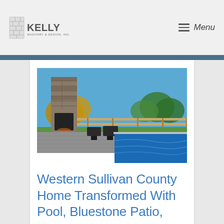Kelly Masonry & Design, Inc. — Menu
[Figure (photo): Outdoor patio scene with a tall stone fireplace, patio furniture including lounge chairs, a swimming pool in the foreground with blue water, green lawn, wooden fence, and trees with autumn foliage under a clear blue sky.]
Western Sullivan County Home Transformed With Pool, Bluestone Patio,